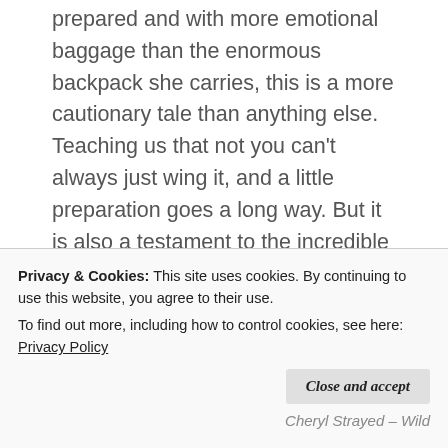…finding herself on the PCT entirely unprepared and with more emotional baggage than the enormous backpack she carries, this is a more cautionary tale than anything else. Teaching us that not you can't always just wing it, and a little preparation goes a long way. But it is also a testament to the incredible strenght and resilience of women and that we are perfectly capable of requeing ourselves.
I was amazed that what I needed to survive could be carried on my
Privacy & Cookies: This site uses cookies. By continuing to use this website, you agree to their use.
To find out more, including how to control cookies, see here: Privacy Policy
Close and accept
Cheryl Strayed – Wild